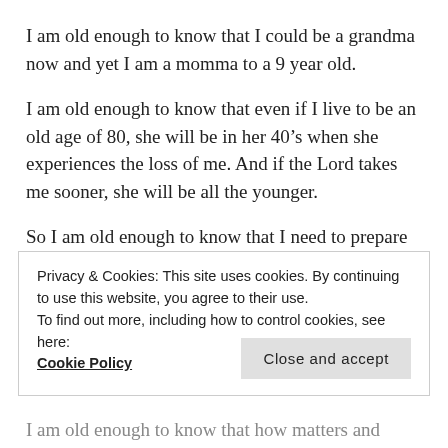I am old enough to know that I could be a grandma now and yet I am a momma to a 9 year old.
I am old enough to know that even if I live to be an old age of 80, she will be in her 40’s when she experiences the loss of me. And if the Lord takes me sooner, she will be all the younger.
So I am old enough to know that I need to prepare her to rely on God for comfort and herself for taking care of herself with God.
I am old enough to know that my greatest gift and
Privacy & Cookies: This site uses cookies. By continuing to use this website, you agree to their use.
To find out more, including how to control cookies, see here:
Cookie Policy
Close and accept
I am old enough to know that how matters and